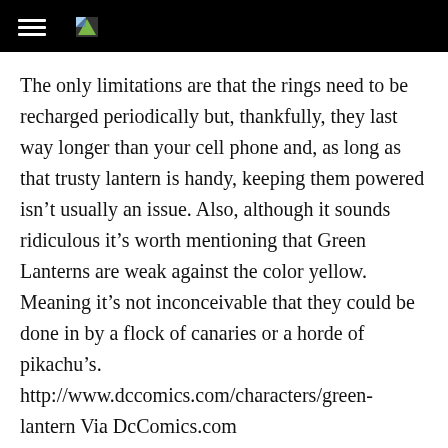The only limitations are that the rings need to be recharged periodically but, thankfully, they last way longer than your cell phone and, as long as that trusty lantern is handy, keeping them powered isn’t usually an issue. Also, although it sounds ridiculous it’s worth mentioning that Green Lanterns are weak against the color yellow. Meaning it’s not inconceivable that they could be done in by a flock of canaries or a horde of pikachu’s. http://www.dccomics.com/characters/green-lantern Via DcComics.com